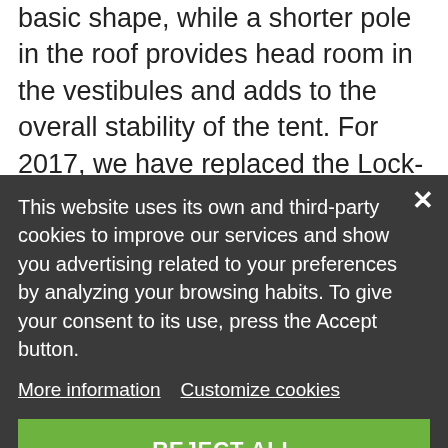basic shape, while a shorter pole in the roof provides head room in the vestibules and adds to the overall stability of the tent. For 2017, we have replaced the Lock-Tip and
dual opening pole sleeve system with
This website uses its own and third-party cookies to improve our services and show you advertising related to your preferences by analyzing your browsing habits. To give your consent to its use, press the Accept button.
More information   Customize cookies
REJECT ALL
I ACCEPT
both vestibules can be rolled partly or fully-
The Rogers spaciousness and self-supporting construction, along with its remarkably low weight and the comfort of its two vestibules, will appeal to paddlers, summer mountain scramblers, backpackers, bicycle tourers and hunters among others.